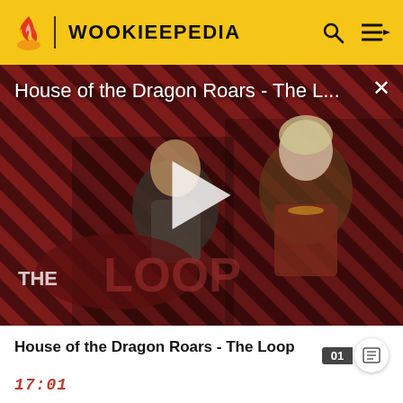WOOKIEEPEDIA
[Figure (screenshot): Video thumbnail for 'House of the Dragon Roars - The L...' showing two characters against a red and black diagonal stripe background with 'THE LOOP' text overlay and a play button in the center. Close button (×) in top right corner.]
House of the Dragon Roars - The Loop
17:01
A female Galactic Republic senator during the Great